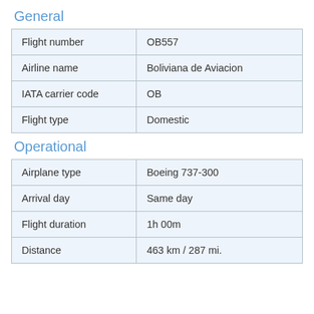General
| Flight number | OB557 |
| Airline name | Boliviana de Aviacion |
| IATA carrier code | OB |
| Flight type | Domestic |
Operational
| Airplane type | Boeing 737-300 |
| Arrival day | Same day |
| Flight duration | 1h 00m |
| Distance | 463 km / 287 mi. |